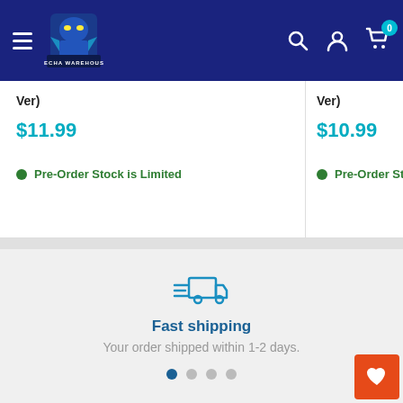Mecha Warehouse
Ver)
$11.99
Pre-Order Stock is Limited
Ver)
$10.99
Pre-Order Stock is
[Figure (illustration): Fast shipping truck icon with speed lines]
Fast shipping
Your order shipped within 1-2 days.